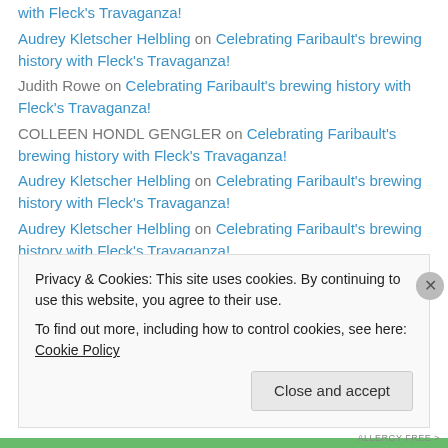with Fleck's Travaganza!
Audrey Kletscher Helbling on Celebrating Faribault's brewing history with Fleck's Travaganza!
Judith Rowe on Celebrating Faribault's brewing history with Fleck's Travaganza!
COLLEEN HONDL GENGLER on Celebrating Faribault's brewing history with Fleck's Travaganza!
Audrey Kletscher Helbling on Celebrating Faribault's brewing history with Fleck's Travaganza!
Audrey Kletscher Helbling on Celebrating Faribault's brewing history with Fleck's Travaganza!
Beth Ann Chiles on Celebrating Faribault's brewing history with Fleck's Travaganza!
Privacy & Cookies: This site uses cookies. By continuing to use this website, you agree to their use. To find out more, including how to control cookies, see here: Cookie Policy
Close and accept